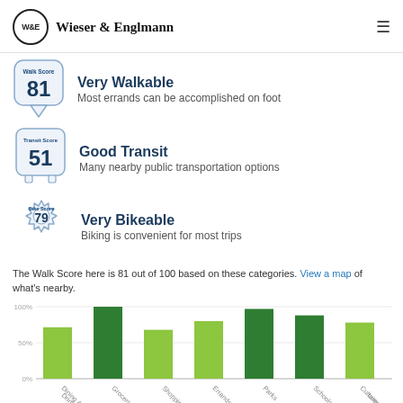W&E Wieser & Englmann
[Figure (infographic): Walk Score badge showing score of 81 - Very Walkable. Most errands can be accomplished on foot.]
[Figure (infographic): Transit Score badge showing score of 51 - Good Transit. Many nearby public transportation options.]
[Figure (infographic): Bike Score badge showing score of 79 - Very Bikeable. Biking is convenient for most trips.]
The Walk Score here is 81 out of 100 based on these categories. View a map of what's nearby.
[Figure (bar-chart): Walk Score Categories]